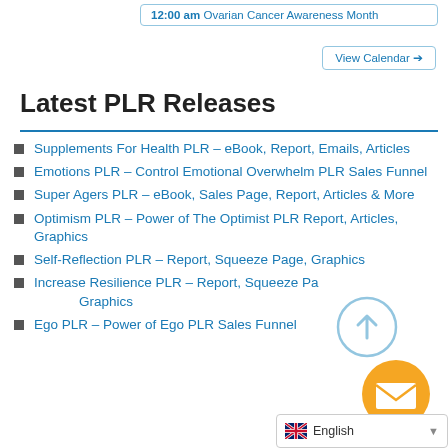12:00 am Ovarian Cancer Awareness Month
View Calendar →
Latest PLR Releases
Supplements For Health PLR – eBook, Report, Emails, Articles
Emotions PLR – Control Emotional Overwhelm PLR Sales Funnel
Super Agers PLR – eBook, Sales Page, Report, Articles & More
Optimism PLR – Power of The Optimist PLR Report, Articles, Graphics
Self-Reflection PLR – Report, Squeeze Page, Graphics
Increase Resilience PLR – Report, Squeeze Page, Graphics
Ego PLR – Power of Ego PLR Sales Funnel
English